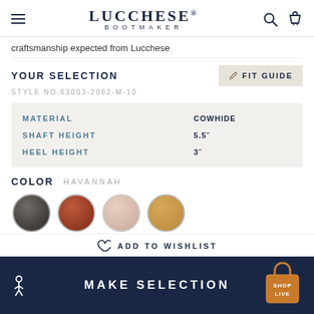LUCCHESE BOOTMAKER
craftsmanship expected from Lucchese
YOUR SELECTION
STYLE NO.63003-2082-M-10
| Attribute | Value |
| --- | --- |
| MATERIAL | COWHIDE |
| SHAFT HEIGHT | 5.5" |
| HEEL HEIGHT | 3" |
COLOR  HAVANNAH
[Figure (photo): Four circular color swatches: dark espresso, reddish brown, rose/blush, and tan/honey]
ADD TO WISHLIST
MAKE SELECTION